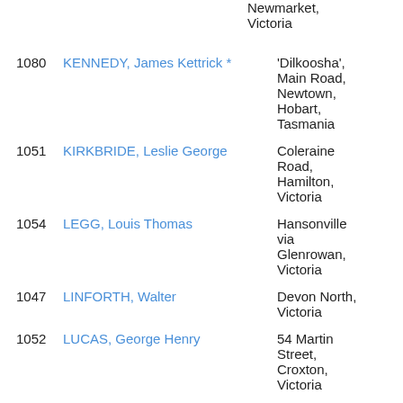Newmarket, Victoria
1080  KENNEDY, James Kettrick *   'Dilkoosha', Main Road, Newtown, Hobart, Tasmania
1051  KIRKBRIDE, Leslie George   Coleraine Road, Hamilton, Victoria
1054  LEGG, Louis Thomas   Hansonville via Glenrowan, Victoria
1047  LINFORTH, Walter   Devon North, Victoria
1052  LUCAS, George Henry   54 Martin Street, Croxton, Victoria
1057  MACGIBBON, Harry   c/o Mrs E C MacGibbon,